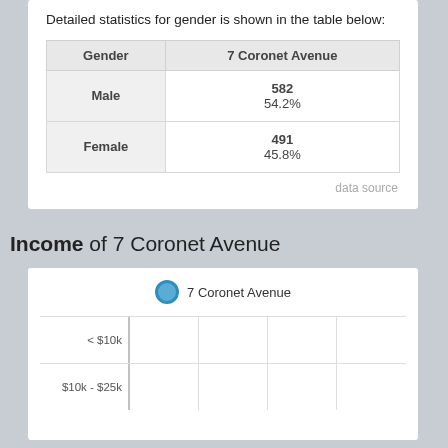Detailed statistics for gender is shown in the table below:
| Gender | 7 Coronet Avenue |
| --- | --- |
| Male | 582
54.2% |
| Female | 491
45.8% |
data source
Income of 7 Coronet Avenue
[Figure (bar-chart): Horizontal bar chart showing income distribution for 7 Coronet Avenue. Categories < $10k and $10k - $25k are visible, bars appear near zero.]